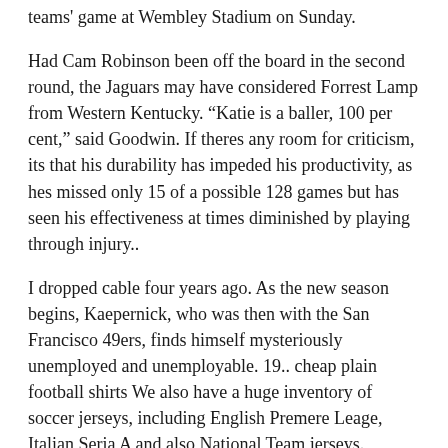teams' game at Wembley Stadium on Sunday.
Had Cam Robinson been off the board in the second round, the Jaguars may have considered Forrest Lamp from Western Kentucky. “Katie is a baller, 100 per cent,” said Goodwin. If theres any room for criticism, its that his durability has impeded his productivity, as hes missed only 15 of a possible 128 games but has seen his effectiveness at times diminished by playing through injury..
I dropped cable four years ago. As the new season begins, Kaepernick, who was then with the San Francisco 49ers, finds himself mysteriously unemployed and unemployable. 19.. cheap plain football shirts We also have a huge inventory of soccer jerseys, including English Premere Leage, Italian Seria A and also National Team jerseys.